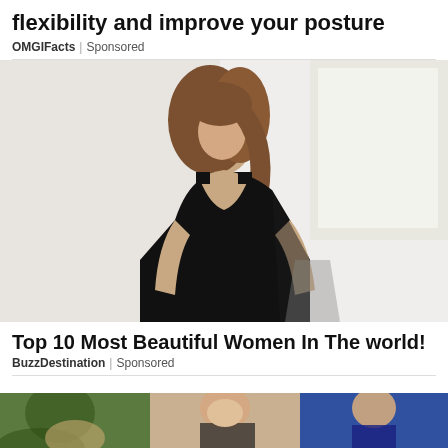flexibility and improve your posture
OMGIFacts | Sponsored
[Figure (photo): Woman in black dress, portrait photo]
Top 10 Most Beautiful Women In The world!
BuzzDestination | Sponsored
[Figure (photo): Bottom strip showing three partial images]